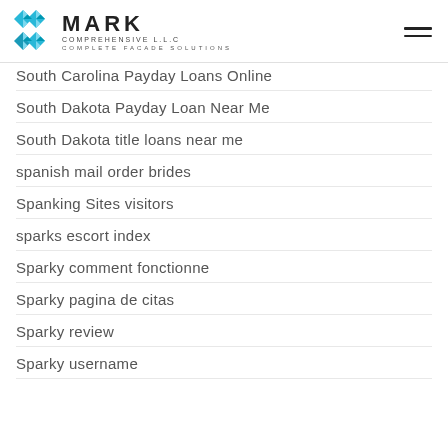[Figure (logo): Mark Comprehensive LLC logo with blue geometric icon and text 'MARK COMPREHENSIVE L.L.C COMPLETE FACADE SOLUTIONS']
South Carolina Payday Loans Online
South Dakota Payday Loan Near Me
South Dakota title loans near me
spanish mail order brides
Spanking Sites visitors
sparks escort index
Sparky comment fonctionne
Sparky pagina de citas
Sparky review
Sparky username